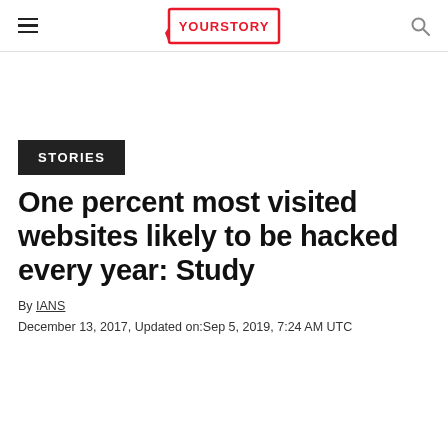YourStory
STORIES
One percent most visited websites likely to be hacked every year: Study
By IANS
December 13, 2017, Updated on:Sep 5, 2019, 7:24 AM UTC